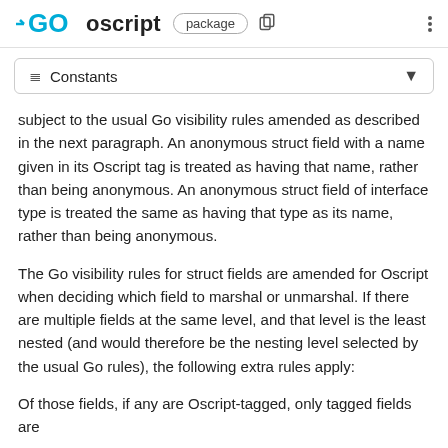GO oscript package
≡ Constants
subject to the usual Go visibility rules amended as described in the next paragraph. An anonymous struct field with a name given in its Oscript tag is treated as having that name, rather than being anonymous. An anonymous struct field of interface type is treated the same as having that type as its name, rather than being anonymous.
The Go visibility rules for struct fields are amended for Oscript when deciding which field to marshal or unmarshal. If there are multiple fields at the same level, and that level is the least nested (and would therefore be the nesting level selected by the usual Go rules), the following extra rules apply:
Of those fields, if any are Oscript-tagged, only tagged fields are considered, even if there are multiple untagged fields that would otherwise conflict.